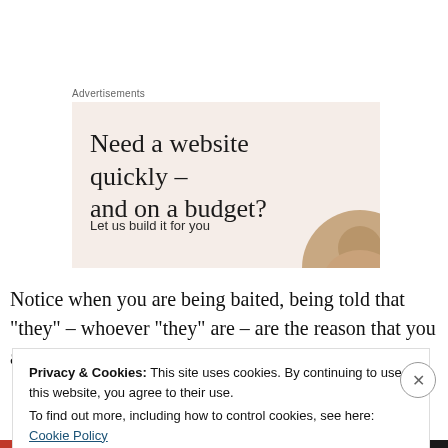Advertisements
[Figure (illustration): Advertisement banner with beige/pink background showing headline 'Need a website quickly – and on a budget?' with subtext 'Let us build it for you' and a partial circular image of a person on the right side.]
Notice when you are being baited, being told that “they” – whoever “they” are – are the reason that you are down.
Privacy & Cookies: This site uses cookies. By continuing to use this website, you agree to their use.
To find out more, including how to control cookies, see here: Cookie Policy
Close and accept